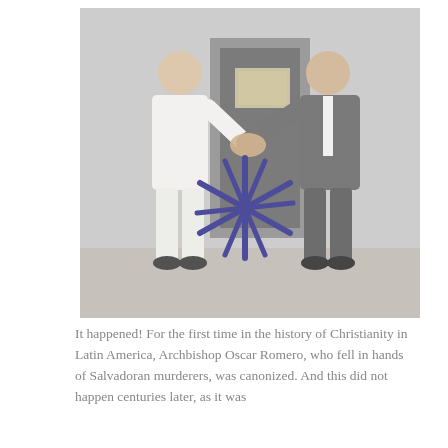[Figure (photo): Two men shaking hands in front of a building entrance. The man on the left wears white clothing, the man on the right wears a dark suit with a red tie. A dark blue starburst/asterisk graphic is overlaid in the center of the image.]
It happened! For the first time in the history of Christianity in Latin America, Archbishop Oscar Romero, who fell in hands of Salvadoran murderers, was canonized. And this did not happen centuries later, as it was